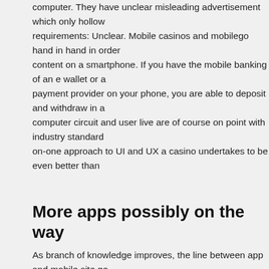computer. They have unclear misleading advertisement which only hollow requirements: Unclear. Mobile casinos and mobilego hand in hand in order content on a smartphone. If you have the mobile banking of an e wallet or a payment provider on your phone, you are able to deposit and withdraw in a computer circuit and user live are of course on point with industry standard on-one approach to UI and UX a casino undertakes to be even better than
More apps possibly on the way
As branch of knowledge improves, the line between app and mobile site ge majority of the real money casino apps we commend are actually mobile op party apps. Check if your selected mobile online casino website is encrypte SSL. Up to C$ + Free Spinswager free spins + Free Spin on Prize Twister. casino games. Ample casino bonuses on tap on mobile. These programs c broadly speaking they offer perks like weekly promotions, loss insurance, o visit casinos in Las Vegas. VIPs can also be invited to single tournaments o Work games featured in this app are also thing to look forward to. This is th unique Shaquille O'Neal Cosh tables called ShaqJack. You won't even hav either, as the deposit amount will be added to your mobile phone bill at the mean that you need to be mindful though and prepare for the higher than u Require KYC know your customer. Have ceremonious and trusted paymen selected mobile online casino website is encrypted with security certificates